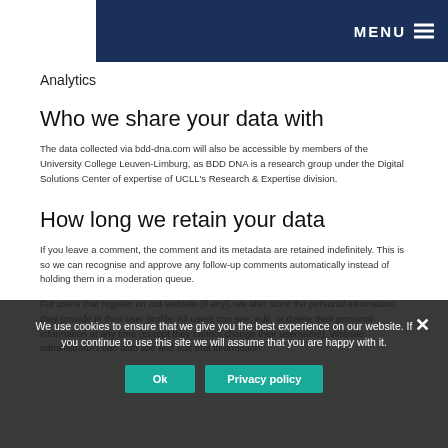MENU
Analytics
Who we share your data with
The data collected via bdd-dna.com will also be accessible by members of the University College Leuven-Limburg, as BDD DNA is a research group under the Digital Solutions Center of expertise of UCLL's Research & Expertise division.
How long we retain your data
If you leave a comment, the comment and its metadata are retained indefinitely. This is so we can recognise and approve any follow-up comments automatically instead of holding them in a moderation queue.
For users that register on our website (if any), we also store the personal information they provide in their user profile. All users can see, edit, or delete their personal information at any time (except they cannot change their username). Website administrators can also see and edit that information.
We use cookies to ensure that we give you the best experience on our website. If you continue to use this site we will assume that you are happy with it.